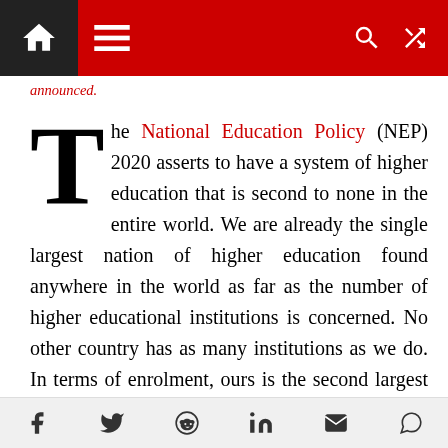Navigation bar with home, menu, search, and shuffle icons
announced.
The National Education Policy (NEP) 2020 asserts to have a system of higher education that is second to none in the entire world. We are already the single largest nation of higher education found anywhere in the world as far as the number of higher educational institutions is concerned. No other country has as many institutions as we do. In terms of enrolment, ours is the second largest system of higher education and even with the normal rate of growth in higher education enrolment, we would become the largest higher education system in 15-20 years. Taking the GER in
Social share icons: Facebook, Twitter, Reddit, LinkedIn, Email, WhatsApp